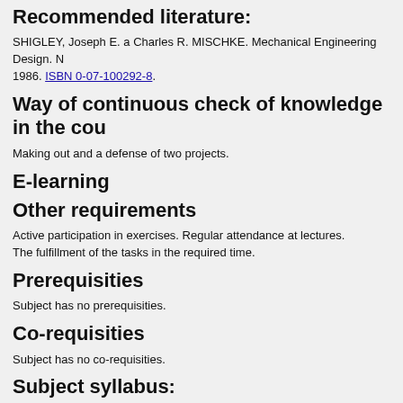Recommended literature:
SHIGLEY, Joseph E. a Charles R. MISCHKE. Mechanical Engineering Design. 1986. ISBN 0-07-100292-8.
Way of continuous check of knowledge in the cou
Making out and a defense of two projects.
E-learning
Other requirements
Active participation in exercises. Regular attendance at lectures.
The fulfillment of the tasks in the required time.
Prerequisities
Subject has no prerequisities.
Co-requisities
Subject has no co-requisities.
Subject syllabus:
In terms of the final project each student works out one or double stages helical
1. Optimized design of the proportions of gearbox case.
2. Simplification based on the standard ČSN 01 4000